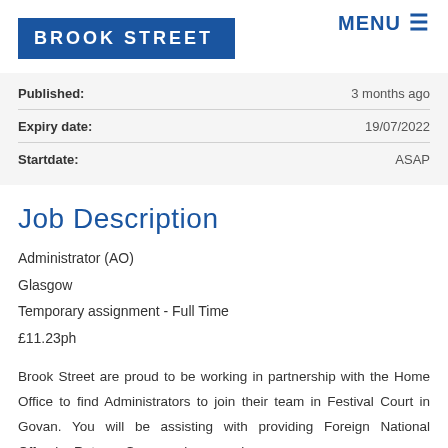BROOK STREET | MENU
| Field | Value |
| --- | --- |
| Published: | 3 months ago |
| Expiry date: | 19/07/2022 |
| Startdate: | ASAP |
Job Description
Administrator (AO)
Glasgow
Temporary assignment - Full Time
£11.23ph
Brook Street are proud to be working in partnership with the Home Office to find Administrators to join their team in Festival Court in Govan. You will be assisting with providing Foreign National Offender Returns Command casework